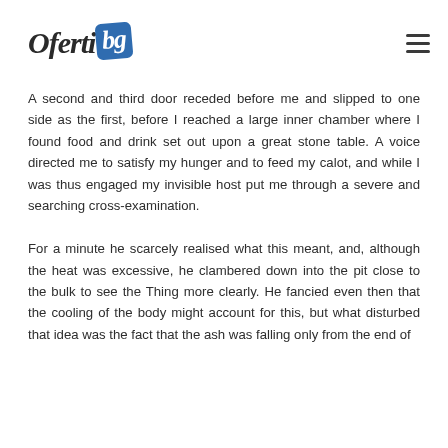Oferti.bg
A second and third door receded before me and slipped to one side as the first, before I reached a large inner chamber where I found food and drink set out upon a great stone table. A voice directed me to satisfy my hunger and to feed my calot, and while I was thus engaged my invisible host put me through a severe and searching cross-examination.
For a minute he scarcely realised what this meant, and, although the heat was excessive, he clambered down into the pit close to the bulk to see the Thing more clearly. He fancied even then that the cooling of the body might account for this, but what disturbed that idea was the fact that the ash was falling only from the end of